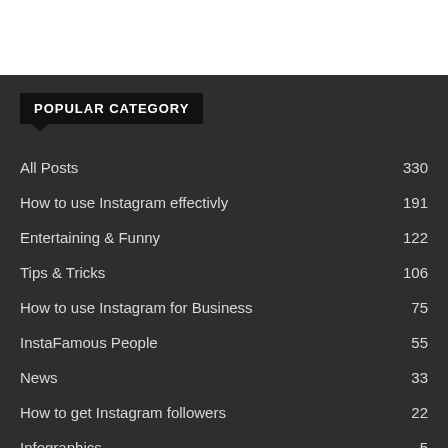POPULAR CATEGORY
All Posts 330
How to use Instagram effectivly 191
Entertaining & Funny 122
Tips & Tricks 106
How to use Instagram for Business 75
InstaFamous People 55
News 33
How to get Instagram followers 22
Infographics 5